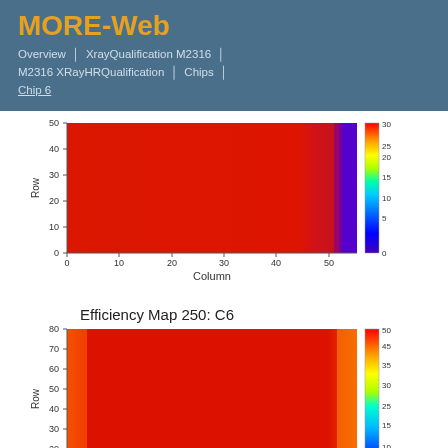MORE-Web
Overview | XrayQualification M2316 | M2316 XRayHRQualification | Chips | Chip 6
[Figure (continuous-plot): 2D heatmap (efficiency map) showing pixel hit counts per row and column for Chip 6. The map shows mostly red (high values ~30) with a purple/blue strip at column ~54-55 (low values ~0-5). Y-axis: Row 0-50, X-axis: Column 0-55. Colorbar on right from 0 (purple) to 30 (red).]
Efficiency Map 250: C6
[Figure (continuous-plot): Second 2D heatmap (efficiency map 250) for C6 showing pixel hit counts per row and column. Mostly red (high values ~50) with orange/yellow strips at left and right edges. Y-axis: Row 10-80, X-axis partially visible. Colorbar on right from 0 (blue) to 50 (red).]